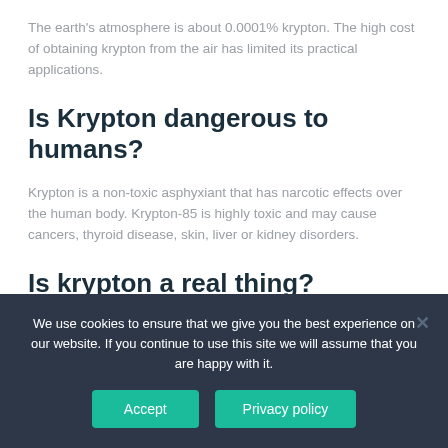The earth's atmosphere is about 0.0001% krypton. The high cost of obtaining krypton from the air has limited its practical applications.
Is Krypton dangerous to humans?
Krypton is a non-toxic asphyxiant that has narcotic effects over the human body. Krypton-85 is highly toxic and may cause cancers, thyroid disease, skin, liver or kidney disorders.
Is krypton a real thing?
Krypton (from Ancient Greek: κρυπτός, romanized: kryptos 'the hidden one') is a chemical element with the symbol Kr and atomic number 36.
We use cookies to ensure that we give you the best experience on our website. If you continue to use this site we will assume that you are happy with it.